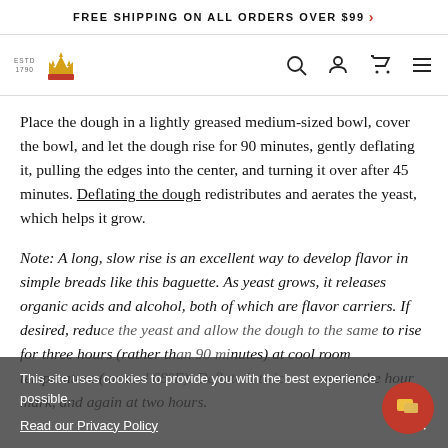FREE SHIPPING ON ALL ORDERS OVER $99 >
[Figure (logo): King Arthur Baking Company crown logo with ESTD 1790 text]
Place the dough in a lightly greased medium-sized bowl, cover the bowl, and let the dough rise for 90 minutes, gently deflating it, pulling the edges into the center, and turning it over after 45 minutes. Deflating the dough redistributes and aerates the yeast, which helps it grow.
Note: A long, slow rise is an excellent way to develop flavor in simple breads like this baguette. As yeast grows, it releases organic acids and alcohol, both of which are flavor carriers. If desired, reduce the yeast and allow the dough to the same rise for three hours (rather than 90 minutes) at cool room temperature (around 68°F). Deflate it twice — once at the hour mark, and again at two hours.
This site uses cookies to provide you with the best experience possible.
Read our Privacy Policy